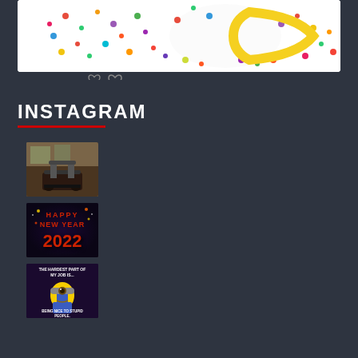[Figure (photo): Partial view of a colorful sprinkles/candy donut image on white background, with social interaction icons (heart shapes) below it]
INSTAGRAM
[Figure (photo): Instagram thumbnail: gym room with treadmill and exercise equipment, paintings on wall]
[Figure (photo): Instagram thumbnail: Happy New Year 2022 graphic with red text and fireworks on dark background]
[Figure (photo): Instagram thumbnail: Minion meme with text 'THE HARDEST PART OF MY JOB IS... BEING NICE TO STUPID PEOPLE.']